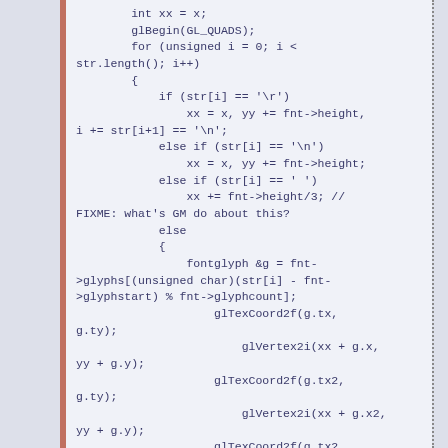int xx = x;
        glBegin(GL_QUADS);
        for (unsigned i = 0; i < str.length(); i++)
        {
            if (str[i] == '\r')
                xx = x, yy += fnt->height,
i += str[i+1] == '\n';
            else if (str[i] == '\n')
                xx = x, yy += fnt->height;
            else if (str[i] == ' ')
                xx += fnt->height/3; // FIXME: what's GM do about this?
            else
            {
                fontglyph &g = fnt->glyphs[(unsigned char)(str[i] - fnt->glyphstart) % fnt->glyphcount];
                    glTexCoord2f(g.tx,
g.ty);
                        glVertex2i(xx + g.x,
yy + g.y);
                    glTexCoord2f(g.tx2,
g.ty);
                        glVertex2i(xx + g.x2,
yy + g.y);
                    glTexCoord2f(g.tx2,
g.ty2);
                        glVertex2i(xx + g.x2,